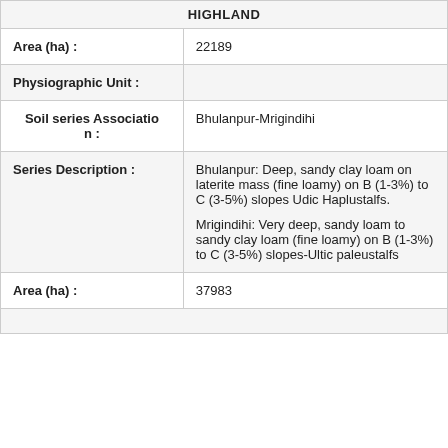|  |  |
| Area (ha) : | 22189 |
| Physiographic Unit : |  |
| Soil series Association n : | Bhulanpur-Mrigindihi |
| Series Description : | Bhulanpur: Deep, sandy clay loam on laterite mass (fine loamy) on B (1-3%) to C (3-5%) slopes Udic Haplustalfs.

Mrigindihi: Very deep, sandy loam to sandy clay loam (fine loamy) on B (1-3%) to C (3-5%) slopes-Ultic paleustalfs |
| Area (ha) : | 37983 |